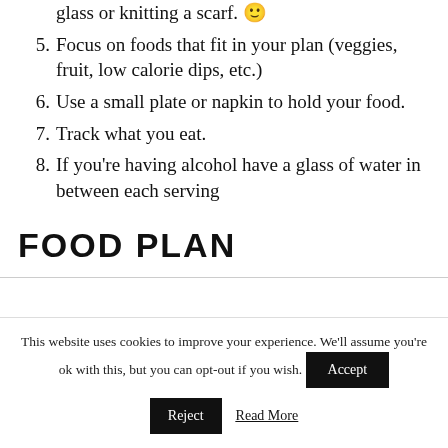glass or knitting a scarf. 🙂
5. Focus on foods that fit in your plan (veggies, fruit, low calorie dips, etc.)
6. Use a small plate or napkin to hold your food.
7. Track what you eat.
8. If you're having alcohol have a glass of water in between each serving
FOOD PLAN
This website uses cookies to improve your experience. We'll assume you're ok with this, but you can opt-out if you wish. Accept Reject Read More